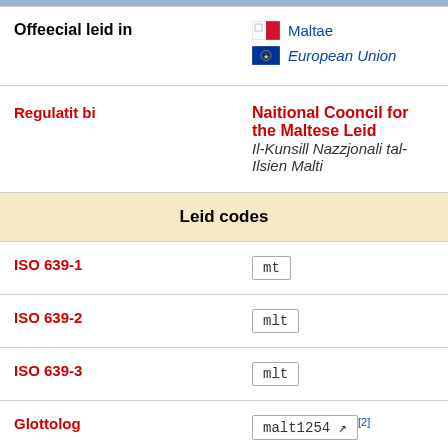| Offeecial leid in | Maltae / European Union |
| Regulatit bi | Naitional Cooncil for the Maltese Leid / Il-Kunsill Nazzjonali tal-Ilsien Malti |
| Leid codes |  |
| ISO 639-1 | mt |
| ISO 639-2 | mlt |
| ISO 639-3 | mlt |
| Glottolog | malt1254 [2] |
| Linguasphere | 12-AAC-c |
[Figure (map): Map showing geographic location, partially visible at bottom of page]